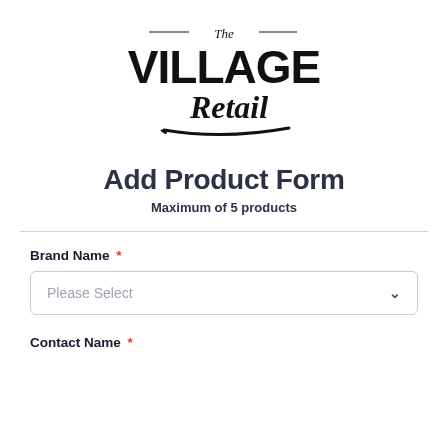[Figure (logo): The Village Retail logo — large bold black text 'VILLAGE RETAIL' with script 'The' above and script 'Retail' overlapping, with a swoosh underline]
Add Product Form
Maximum of 5 products
Brand Name *
Please Select
Contact Name *